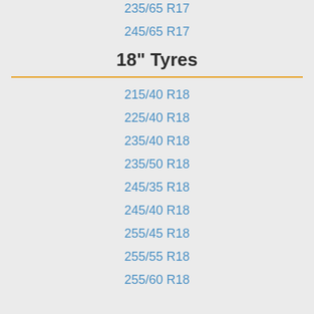235/65 R17
245/65 R17
18" Tyres
215/40 R18
225/40 R18
235/40 R18
235/50 R18
245/35 R18
245/40 R18
255/45 R18
255/55 R18
255/60 R18